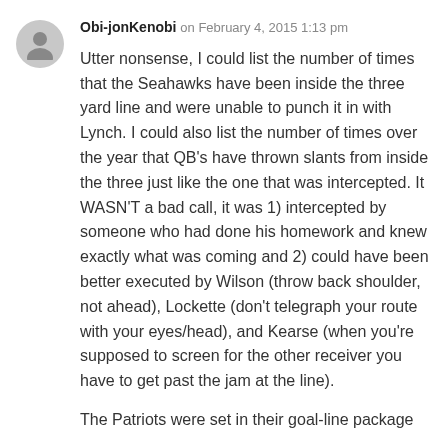Obi-jonKenobi on February 4, 2015 1:13 pm
Utter nonsense, I could list the number of times that the Seahawks have been inside the three yard line and were unable to punch it in with Lynch. I could also list the number of times over the year that QB's have thrown slants from inside the three just like the one that was intercepted. It WASN'T a bad call, it was 1) intercepted by someone who had done his homework and knew exactly what was coming and 2) could have been better executed by Wilson (throw back shoulder, not ahead), Lockette (don't telegraph your route with your eyes/head), and Kearse (when you're supposed to screen for the other receiver you have to get past the jam at the line).
The Patriots were set in their goal-line package